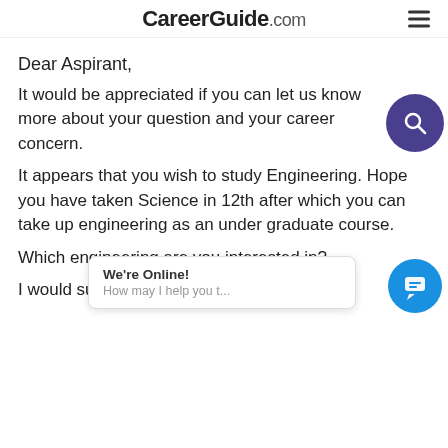CareerGuide.com
Dear Aspirant,
It would be appreciated if you can let us know more about your question and your career concern.
It appears that you wish to study Engineering. Hope you have taken Science in 12th after which you can take up engineering as an under graduate course.
Which engineering are you interested in?
I would sugge... lie... b... Research, Scholar, Tech...
[Figure (infographic): Purple circular search button with magnifying glass icon, overlapping the text area on the right side]
[Figure (screenshot): Chat widget popup with 'We're Online!' and 'How may I help you t...' text, with a blue chat icon button on the bottom right]